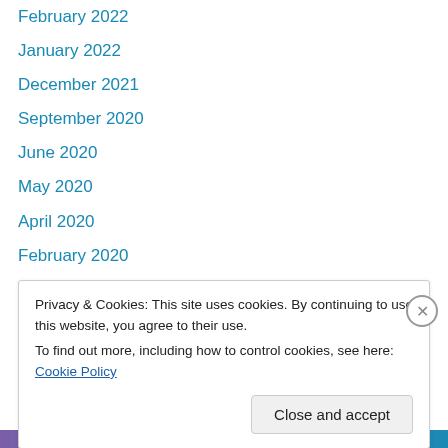February 2022
January 2022
December 2021
September 2020
June 2020
May 2020
April 2020
February 2020
October 2019
August 2019
July 2019
June 2019
May 2019
Privacy & Cookies: This site uses cookies. By continuing to use this website, you agree to their use. To find out more, including how to control cookies, see here: Cookie Policy
Close and accept